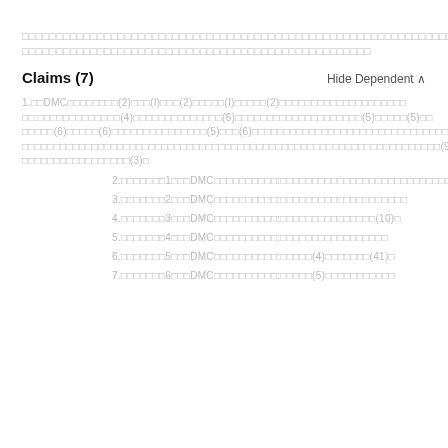[redacted text block - two lines of redacted/obscured Japanese or CJK characters spanning full width]
Claims (7)
1.[redacted]DMC[redacted](2)[redacted](1)[redacted](2)[redacted](1)[redacted](2)[redacted]:[redacted](4)[redacted](6)[redacted](5)[redacted](5)[redacted](6)[redacted](6)[redacted](5)[redacted](6)[redacted](9)[redacted](3)[redacted]
2.[redacted]1[redacted]DMC[redacted]:[redacted]
3.[redacted]2[redacted]DMC[redacted]:[redacted]
4.[redacted]3[redacted]DMC[redacted]:[redacted](10)[redacted]
5.[redacted]4[redacted]DMC[redacted]:[redacted]
6.[redacted]5[redacted]DMC[redacted]:[redacted](4)[redacted](41)[redacted]
7.[redacted]6[redacted]DMC[redacted]:[redacted](5)[redacted]